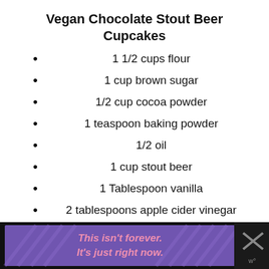Vegan Chocolate Stout Beer Cupcakes
1 1/2 cups flour
1 cup brown sugar
1/2 cup cocoa powder
1 teaspoon baking powder
1/2 oil
1 cup stout beer
1 Tablespoon vanilla
2 tablespoons apple cider vinegar
Your favorite vegan icing recipe, optional
[Figure (infographic): Advertisement banner at the bottom. Purple background with diagonal stripe pattern. Orange italic bold text reading 'This isn't forever. It's just right now.' with a close button X on the right and a small icon.]